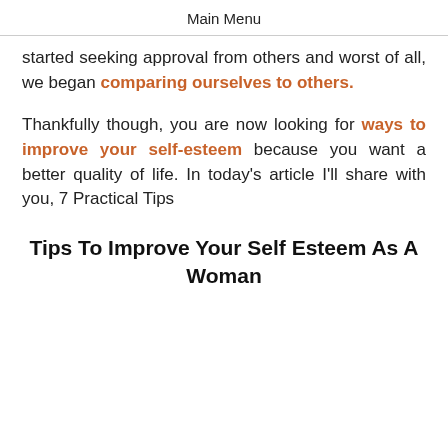Main Menu
started seeking approval from others and worst of all, we began comparing ourselves to others.
Thankfully though, you are now looking for ways to improve your self-esteem because you want a better quality of life. In today’s article I’ll share with you, 7 Practical Tips
Tips To Improve Your Self Esteem As A Woman